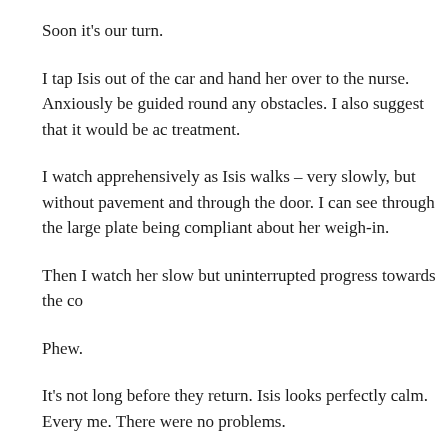Soon it's our turn.
I tap Isis out of the car and hand her over to the nurse. Anxiously be guided round any obstacles. I also suggest that it would be ac treatment.
I watch apprehensively as Isis walks – very slowly, but without pavement and through the door. I can see through the large plate being compliant about her weigh-in.
Then I watch her slow but uninterrupted progress towards the co
Phew.
It's not long before they return. Isis looks perfectly calm. Every me. There were no problems.
That's a relief. And, I can pay by card over the phone.